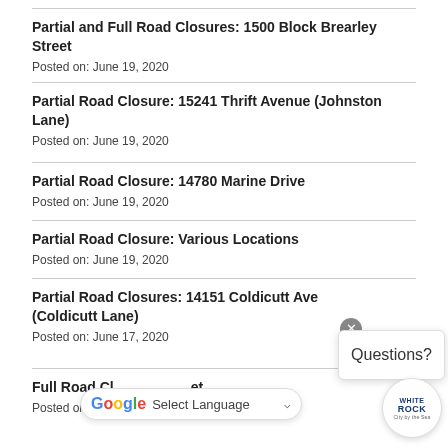Partial and Full Road Closures: 1500 Block Brearley Street
Posted on: June 19, 2020
Partial Road Closure: 15241 Thrift Avenue (Johnston Lane)
Posted on: June 19, 2020
Partial Road Closure: 14780 Marine Drive
Posted on: June 19, 2020
Partial Road Closure: Various Locations
Posted on: June 19, 2020
Partial Road Closures: 14151 Coldicutt Ave (Coldicutt Lane)
Posted on: June 17, 2020
Full Road Closure: [street]
Posted on: June 16, 2020